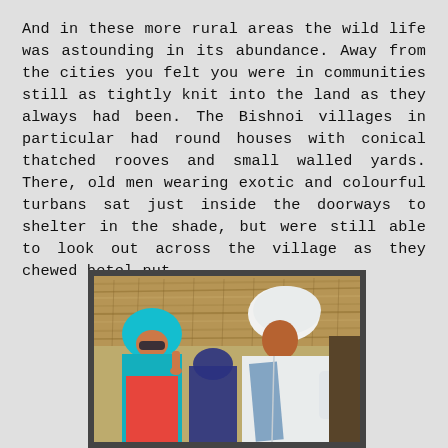And in these more rural areas the wild life was astounding in its abundance. Away from the cities you felt you were in communities still as tightly knit into the land as they always had been. The Bishnoi villages in particular had round houses with conical thatched rooves and small walled yards. There, old men wearing exotic and colourful turbans sat just inside the doorways to shelter in the shade, but were still able to look out across the village as they chewed betel nut.
[Figure (photo): Two people standing in front of a thatched roof structure. On the left is a woman wearing a bright teal/cyan head covering and a red garment. On the right is a man wearing a white turban and white clothing, with a blue sash. A dark shadowed figure is visible in the foreground center.]